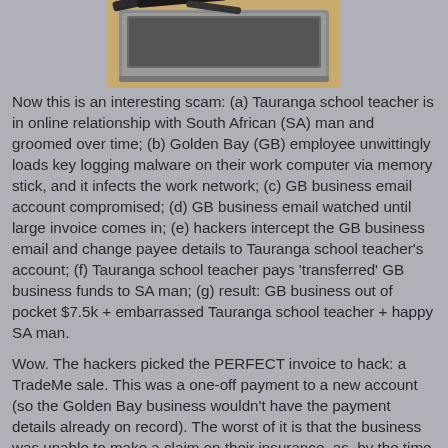[Figure (photo): Partial view of a laptop computer on a wooden surface, with cables visible, photographed from above]
Now this is an interesting scam: (a) Tauranga school teacher is in online relationship with South African (SA) man and groomed over time; (b) Golden Bay (GB) employee unwittingly loads key logging malware on their work computer via memory stick, and it infects the work network; (c) GB business email account compromised; (d) GB business email watched until large invoice comes in; (e) hackers intercept the GB business email and change payee details to Tauranga school teacher's account; (f) Tauranga school teacher pays 'transferred' GB business funds to SA man; (g) result: GB business out of pocket $7.5k + embarrassed Tauranga school teacher + happy SA man.
Wow. The hackers picked the PERFECT invoice to hack: a TradeMe sale. This was a one-off payment to a new account (so the Golden Bay business wouldn't have the payment details already on record). The worst of it is that the business was unable to make a claim on their insurance, as, by the time the whole debacle was unwound by the Police, it was